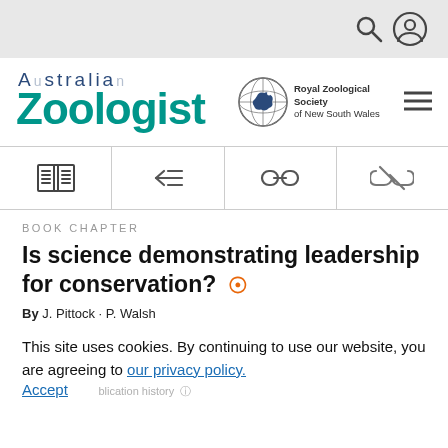[Figure (logo): Australian Zoologist journal logo with Royal Zoological Society of New South Wales emblem]
[Figure (infographic): Icon toolbar with book, list/back, link, and chain-link icons]
BOOK CHAPTER
Is science demonstrating leadership for conservation?
By J. Pittock · P. Walsh
This site uses cookies. By continuing to use our website, you are agreeing to our privacy policy. Accept